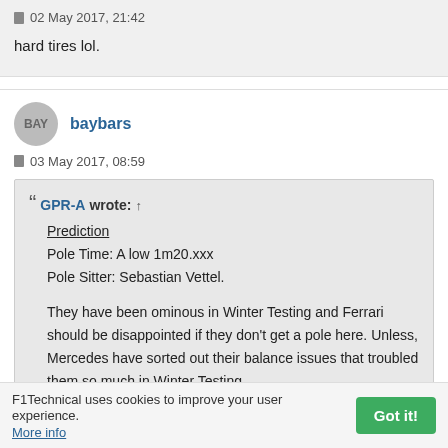02 May 2017, 21:42
hard tires lol.
baybars
03 May 2017, 08:59
GPR-A wrote: ↑
Prediction
Pole Time: A low 1m20.xxx
Pole Sitter: Sebastian Vettel.

They have been ominous in Winter Testing and Ferrari should be disappointed if they don't get a pole here. Unless, Mercedes have sorted out their balance issues that troubled them so much in Winter Testing.
F1Technical uses cookies to improve your user experience.
More info